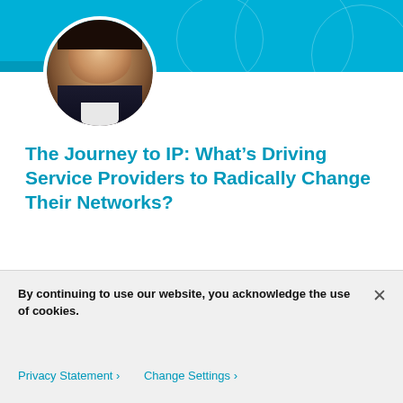[Figure (photo): Circular profile photo of Kurt Rosenthal, a smiling man in a dark suit]
Kurt Rosenthal
The Journey to IP: What’s Driving Service Providers to Radically Change Their Networks?
By working with Cisco and Ericsson on IP network transformation, Service Providers can realize a faster time to market, with reduced risk, and extended value, delivering higher quality, more reliable network services to their customers.
By continuing to use our website, you acknowledge the use of cookies.
Privacy Statement ›   Change Settings ›